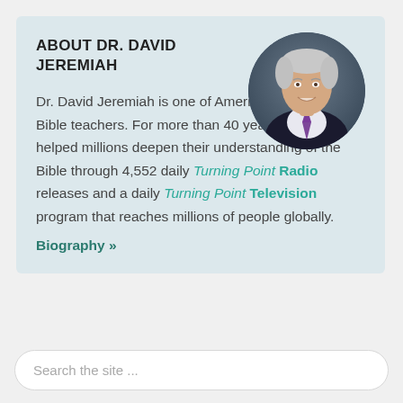ABOUT DR. DAVID JEREMIAH
[Figure (photo): Circular portrait photo of Dr. David Jeremiah, an older man with white/grey hair, wearing a dark suit and purple tie, smiling, against a dark grey background.]
Dr. David Jeremiah is one of America's most trusted Bible teachers. For more than 40 years he has helped millions deepen their understanding of the Bible through 4,552 daily Turning Point Radio releases and a daily Turning Point Television program that reaches millions of people globally.
Biography »
Search the site ...